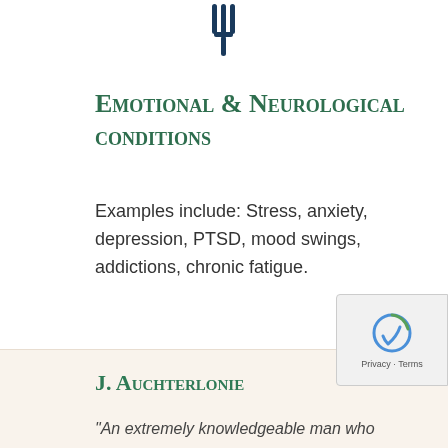[Figure (illustration): Three vertical fork/cutlery tine icons in dark navy blue arranged together, resembling a fork motif]
Emotional & Neurological conditions
Examples include: Stress, anxiety, depression, PTSD, mood swings, addictions, chronic fatigue.
[Figure (other): Horizontal divider line with a concentric circle decoration on the right end]
Testimonials
J. Auchterlonie
“An extremely knowledgeable man who